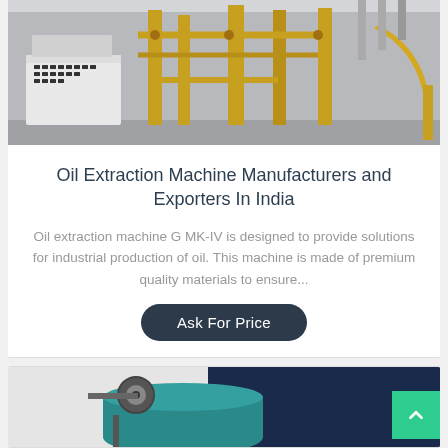[Figure (photo): Industrial oil extraction machine plant interior with yellow equipment, pipes, and control panels]
Oil Extraction Machine Manufacturers and Exporters In India
Oil extraction machine G MK-IV is designed to provide solutions for industrial production of oil. This machine is made of premium quality materials to ensure...
Ask For Price
[Figure (photo): Oil extraction machine with teal/blue tub and dark blue panel background]